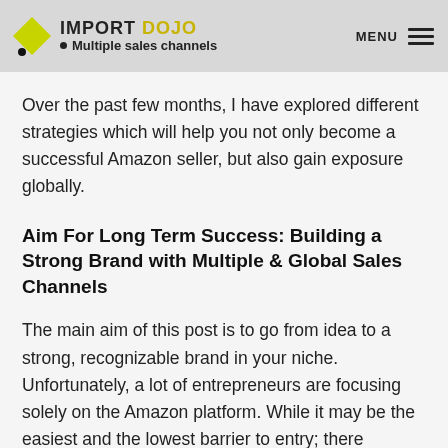IMPORT DOJO • Multiple sales channels MENU
Over the past few months, I have explored different strategies which will help you not only become a successful Amazon seller, but also gain exposure globally.
Aim For Long Term Success: Building a Strong Brand with Multiple & Global Sales Channels
The main aim of this post is to go from idea to a strong, recognizable brand in your niche. Unfortunately, a lot of entrepreneurs are focusing solely on the Amazon platform. While it may be the easiest and the lowest barrier to entry; there